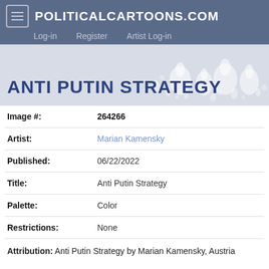POLITICALCARTOONS.COM | Log-in | Register | Artist Log-in
ANTI PUTIN STRATEGY
| Field | Value |
| --- | --- |
| Image #: | 264266 |
| Artist: | Marian Kamensky |
| Published: | 06/22/2022 |
| Title: | Anti Putin Strategy |
| Palette: | Color |
| Restrictions: | None |
Attribution: Anti Putin Strategy by Marian Kamensky, Austria